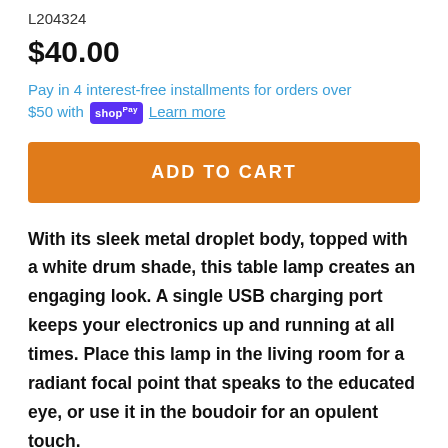L204324
$40.00
Pay in 4 interest-free installments for orders over $50 with shop Pay  Learn more
ADD TO CART
With its sleek metal droplet body, topped with a white drum shade, this table lamp creates an engaging look. A single USB charging port keeps your electronics up and running at all times. Place this lamp in the living room for a radiant focal point that speaks to the educated eye, or use it in the boudoir for an opulent touch.